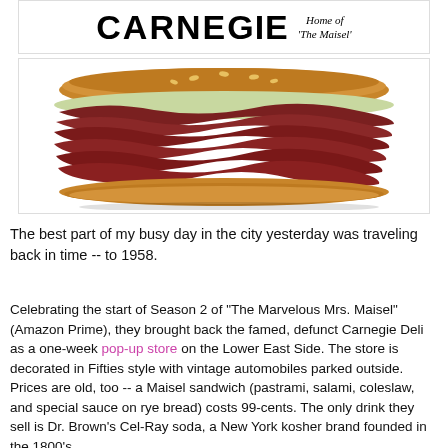[Figure (logo): Carnegie Deli logo text partially visible with tagline 'Home of The Maisel' in italic script on the right side]
[Figure (photo): A large pastrami sandwich piled high with cured meat, coleslaw and toppings on rye bread, photographed against a white background]
The best part of my busy day in the city yesterday was traveling back in time -- to 1958.
Celebrating the start of Season 2 of "The Marvelous Mrs. Maisel" (Amazon Prime), they brought back the famed, defunct Carnegie Deli as a one-week pop-up store on the Lower East Side. The store is decorated in Fifties style with vintage automobiles parked outside. Prices are old, too -- a Maisel sandwich (pastrami, salami, coleslaw, and special sauce on rye bread) costs 99-cents. The only drink they sell is Dr. Brown's Cel-Ray soda, a New York kosher brand founded in the 1800's.